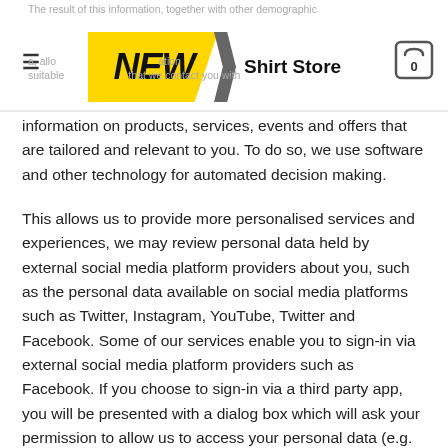NEW Shirt Store
information on products, services, events and offers that are tailored and relevant to you. To do so, we use software and other technology for automated decision making.
This allows us to provide more personalised services and experiences, we may review personal data held by external social media platform providers about you, such as the personal data available on social media platforms such as Twitter, Instagram, YouTube, Twitter and Facebook. Some of our services enable you to sign-in via external social media platform providers such as Facebook. If you choose to sign-in via a third party app, you will be presented with a dialog box which will ask your permission to allow us to access your personal data (e.g. your full name, date of birth, email address and any other information you have made accessible).